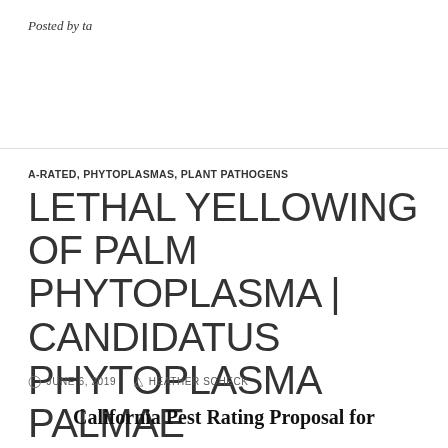Posted by ta
A-RATED, PHYTOPLASMAS, PLANT PATHOGENS
LETHAL YELLOWING OF PALM PHYTOPLASMA | CANDIDATUS PHYTOPLASMA PALMAE
JUNE 6, 2019   HEATHER SCHECK
California Pest Rating Proposal for